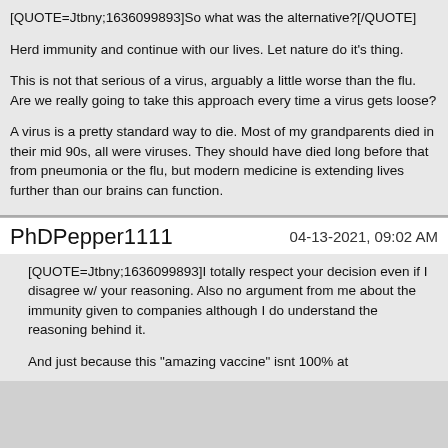[QUOTE=Jtbny;1636099893]So what was the alternative?[/QUOTE]
Herd immunity and continue with our lives. Let nature do it's thing.
This is not that serious of a virus, arguably a little worse than the flu. Are we really going to take this approach every time a virus gets loose?
A virus is a pretty standard way to die. Most of my grandparents died in their mid 90s, all were viruses. They should have died long before that from pneumonia or the flu, but modern medicine is extending lives further than our brains can function.
PhDPepper1111    04-13-2021, 09:02 AM
[QUOTE=Jtbny;1636099893]I totally respect your decision even if I disagree w/ your reasoning. Also no argument from me about the immunity given to companies although I do understand the reasoning behind it.
And just because this "amazing vaccine" isnt 100% at